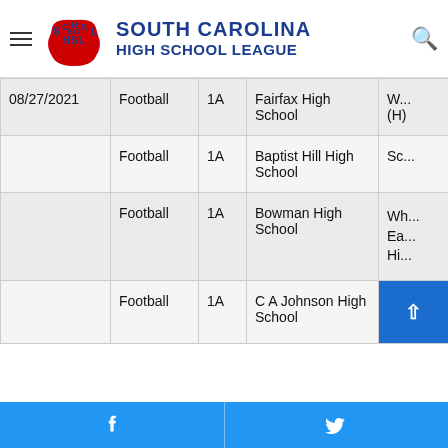[Figure (logo): South Carolina High School League logo with SCHSL letters and state silhouette in blue and red]
SOUTH CAROLINA HIGH SCHOOL LEAGUE
| Date | Sport | Class | Home Team | Opponent |
| --- | --- | --- | --- | --- |
| 08/27/2021 | Football | 1A | Fairfax High School | W... (H) |
|  | Football | 1A | Baptist Hill High School | Sc... |
|  | Football | 1A | Bowman High School | Wh... Ea... Hi... |
|  | Football | 1A | C A Johnson High School |  |